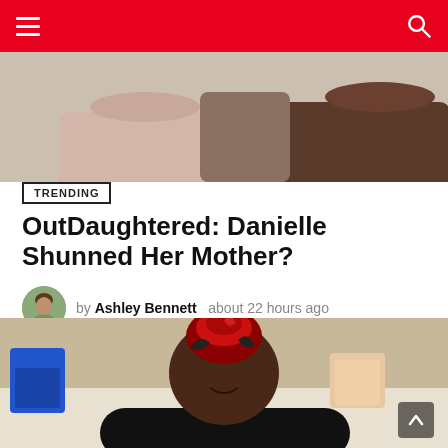Navigation bar with hamburger menu and search icon
[Figure (photo): Top partial photo showing two people seated on a couch, cropped to show torsos]
TRENDING
OutDaughtered: Danielle Shunned Her Mother?
by Ashley Bennett  about 22 hours ago
[Figure (photo): Woman with red and black braids in an updo, wearing a black top, arms crossed, sitting at a desk with decorative items in the background]